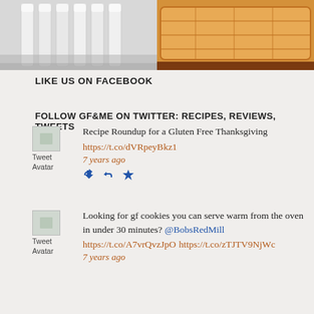[Figure (photo): Two photos side by side: left shows milk bottles in black and white; right shows golden baked pastry/bread]
LIKE US ON FACEBOOK
FOLLOW GF&ME ON TWITTER: RECIPES, REVIEWS, TWEETS
Recipe Roundup for a Gluten Free Thanksgiving
https://t.co/dVRpeyBkz1
7 years ago
Looking for gf cookies you can serve warm from the oven in under 30 minutes? @BobsRedMill https://t.co/A7vrQvzJpO https://t.co/zTJTV9NjWc
7 years ago